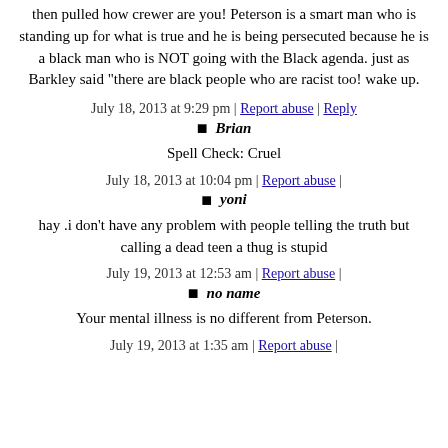then pulled how crewer are you! Peterson is a smart man who is standing up for what is true and he is being persecuted because he is a black man who is NOT going with the Black agenda. just as Barkley said "there are black people who are racist too! wake up.
July 18, 2013 at 9:29 pm | Report abuse | Reply
Brian
Spell Check: Cruel
July 18, 2013 at 10:04 pm | Report abuse |
yoni
hay .i don't have any problem with people telling the truth but calling a dead teen a thug is stupid
July 19, 2013 at 12:53 am | Report abuse |
no name
Your mental illness is no different from Peterson.
July 19, 2013 at 1:35 am | Report abuse |